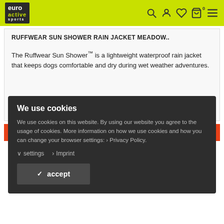euro active sports — header navigation with search, account, wishlist, cart (0), and menu icons
RUFFWEAR SUN SHOWER RAIN JACKET MEADOW..
The Ruffwear Sun Shower™ is a lightweight waterproof rain jacket that keeps dogs comfortable and dry during wet weather adventures.
We use cookies
We use cookies on this website. By using our website you agree to the usage of cookies. More information on how we use cookies and how you can change your browser settings:  >  Privacy Policy.
∨ settings
> Imprint
✓  accept